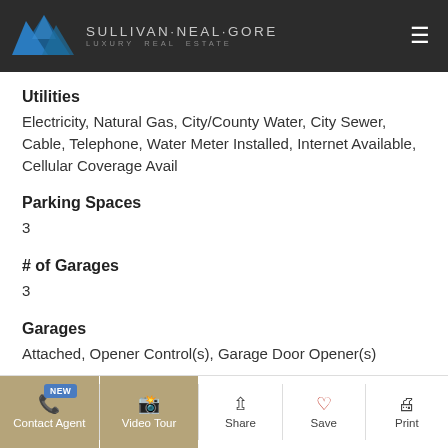Sullivan·Neal·Gore Luxury Real Estate
Utilities
Electricity, Natural Gas, City/County Water, City Sewer, Cable, Telephone, Water Meter Installed, Internet Available, Cellular Coverage Avail
Parking Spaces
3
# of Garages
3
Garages
Attached, Opener Control(s), Garage Door Opener(s)
View
Contact Agent | Video Tour | Share | Save | Print